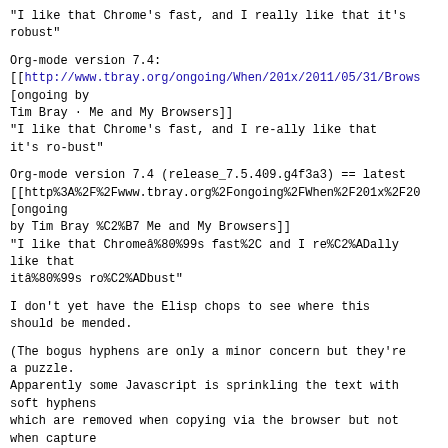"I like that Chrome’s fast, and I really like that it’s robust"
Org-mode version 7.4:
[[http://www.tbray.org/ongoing/When/201x/2011/05/31/Brows
[ongoing by
Tim Bray · Me and My Browsers]]
"I like that Chrome’s fast, and I re-ally like that
it’s ro-bust"
Org-mode version 7.4 (release_7.5.409.g4f3a3) == latest
[[http%3A%2F%2Fwww.tbray.org%2Fongoing%2FWhen%2F201x%2F20
[ongoing
by Tim Bray %C2%B7 Me and My Browsers]]
"I like that Chromeâ%80%99s fast%2C and I re%C2%ADally
like that
itâ%80%99s ro%C2%ADbust"
I don't yet have the Elisp chops to see where this
should be mended.
(The bogus hyphens are only a minor concern but they're
a puzzle.
Apparently some Javascript is sprinkling the text with
soft hyphens
which are removed when copying via the browser but not
when capture
copies using window.getSelection())
Thanks, Bill